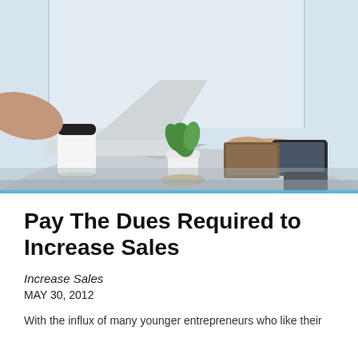[Figure (photo): Business meeting scene: two people at a round table with an open laptop, a small potted plant, a white coffee cup with black lid, and a smartphone. Bright window in the background, both people's hands visible.]
Pay The Dues Required to Increase Sales
Increase Sales
MAY 30, 2012
With the influx of many younger entrepreneurs who like their